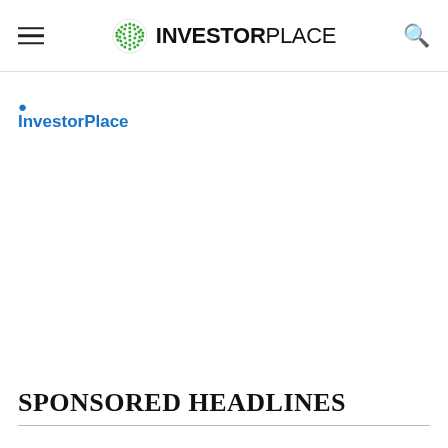InvestorPlace
InvestorPlace
SPONSORED HEADLINES